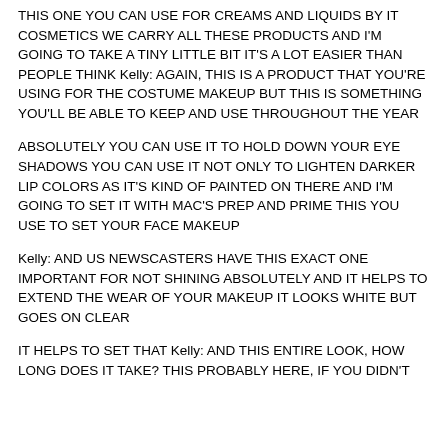THIS ONE YOU CAN USE FOR CREAMS AND LIQUIDS BY IT COSMETICS WE CARRY ALL THESE PRODUCTS AND I'M GOING TO TAKE A TINY LITTLE BIT IT'S A LOT EASIER THAN PEOPLE THINK Kelly: AGAIN, THIS IS A PRODUCT THAT YOU'RE USING FOR THE COSTUME MAKEUP BUT THIS IS SOMETHING YOU'LL BE ABLE TO KEEP AND USE THROUGHOUT THE YEAR
ABSOLUTELY YOU CAN USE IT TO HOLD DOWN YOUR EYE SHADOWS YOU CAN USE IT NOT ONLY TO LIGHTEN DARKER LIP COLORS AS IT'S KIND OF PAINTED ON THERE AND I'M GOING TO SET IT WITH MAC'S PREP AND PRIME THIS YOU USE TO SET YOUR FACE MAKEUP
Kelly: AND US NEWSCASTERS HAVE THIS EXACT ONE IMPORTANT FOR NOT SHINING ABSOLUTELY AND IT HELPS TO EXTEND THE WEAR OF YOUR MAKEUP IT LOOKS WHITE BUT GOES ON CLEAR
IT HELPS TO SET THAT Kelly: AND THIS ENTIRE LOOK, HOW LONG DOES IT TAKE? THIS PROBABLY HERE, IF YOU DIDN'T